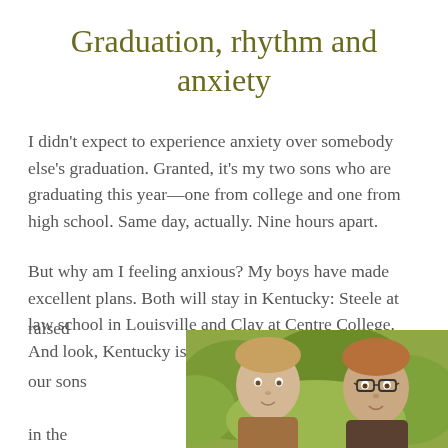Graduation, rhythm and anxiety
I didn't expect to experience anxiety over somebody else's graduation. Granted, it's my two sons who are graduating this year—one from college and one from high school. Same day, actually. Nine hours apart.
But why am I feeling anxious? My boys have made excellent plans. Both will stay in Kentucky: Steele at law school in Louisville and Clay at Centre College. And look, Kentucky is familiar territory. My wife and I raised our sons in the
[Figure (photo): Photo of two young men (sons) outdoors with green foliage background]